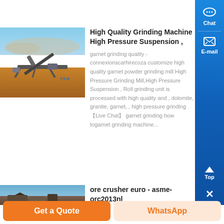grinder machine;...
[Figure (photo): Mining/crushing machine equipment in an open field with dust clouds]
High Quality Grinding Machine High Pressure Suspension ,
garnet grinding quality - connexionscarhirecoza customize high quality garnet powder grinding mill High Pressure Grinding Mill,High Pressure Suspension , Roll grinding unit is processed with high quality and , dolomite, granite, garnet, , high pressure grinding 【Live Chat】 garnet grinding how togarnet grinding machine...
[Figure (photo): Rock crusher / quarry site partial image]
ore crusher euro - asme-orc2013nl